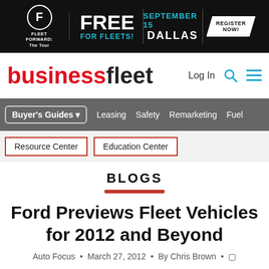[Figure (other): Advertisement banner for Fleet Forward: The Tour — FREE FOR FLEETS! September 15, Dallas. Register Now!]
businessfleet — Log In
Buyer's Guides | Leasing | Safety | Remarketing | Fuel
Resource Center | Education Center
BLOGS
Ford Previews Fleet Vehicles for 2012 and Beyond
Auto Focus  •  March 27, 2012  •  By Chris Brown  •